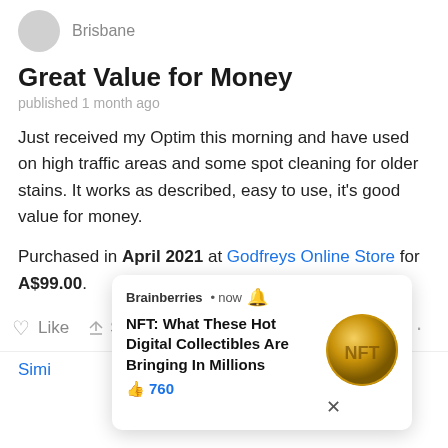Brisbane
Great Value for Money
published 1 month ago
Just received my Optim this morning and have used on high traffic areas and some spot cleaning for older stains. It works as described, easy to use, it's good value for money.
Purchased in April 2021 at Godfreys Online Store for A$99.00.
Like   Share   ...
Simi
[Figure (screenshot): Brainberries notification popup: 'NFT: What These Hot Digital Collectibles Are Bringing In Millions' with 760 likes and a gold NFT coin image, with a close (X) button]